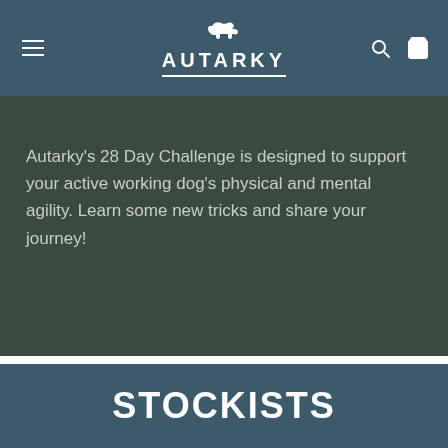AUTARKY
Autarky's 28 Day Challenge is designed to support your active working dog's physical and mental agility. Learn some new tricks and share your journey!
STOCKISTS